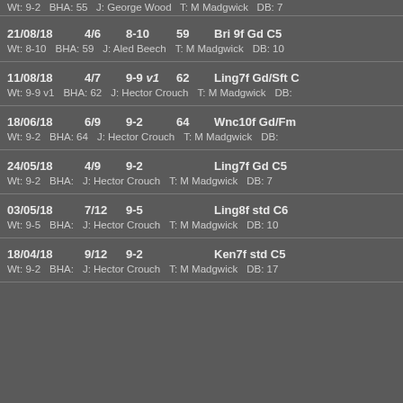Wt: 9-2  BHA: 55  J: George Wood  T: M Madgwick  DB: 7
21/08/18  4/6  8-10  59  Bri 9f Gd C5
Wt: 8-10  BHA: 59  J: Aled Beech  T: M Madgwick  DB: 10
11/08/18  4/7  9-9 v1  62  Ling7f Gd/Sft C
Wt: 9-9 v1  BHA: 62  J: Hector Crouch  T: M Madgwick  DB:
18/06/18  6/9  9-2  64  Wnc10f Gd/Fm
Wt: 9-2  BHA: 64  J: Hector Crouch  T: M Madgwick  DB:
24/05/18  4/9  9-2  Ling7f Gd C5
Wt: 9-2  BHA:  J: Hector Crouch  T: M Madgwick  DB: 7
03/05/18  7/12  9-5  Ling8f std C6
Wt: 9-5  BHA:  J: Hector Crouch  T: M Madgwick  DB: 10
18/04/18  9/12  9-2  Ken7f std C5
Wt: 9-2  BHA:  J: Hector Crouch  T: M Madgwick  DB: 17